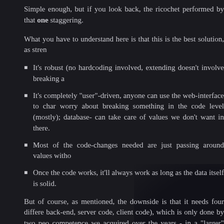Simple enough, but if you look back, the ricochet performed by that one staggering.
What you have to understand here is that this is the best solution, as stren
It's robust (no hardcoding involved, extending doesn't involve breaking a
It's completely "user"-driven, anyone can use the web-interface to char worry about breaking something in the code level (mostly); database- can take care of values we don't want in there.
Most of the code-changes needed are just passing around values witho
Once the code works, it'll always work as long as the data itself is solid.
But of course, as mentioned, the downside is that it needs four differe back-end, server code, client code), which is only done by two peo competence we acquired over the years - in a "larger" project, this cou department management, while here it's usually just strong language and myself". However, once we're done, we can wash our hands and nev because the content will go in on one end and the code will take care of note, this applies to blogposts too: This post will probably be / was proofr us.)
Exercise for the reader
Now, to make sure that you understand the gravity of this stuff, here's